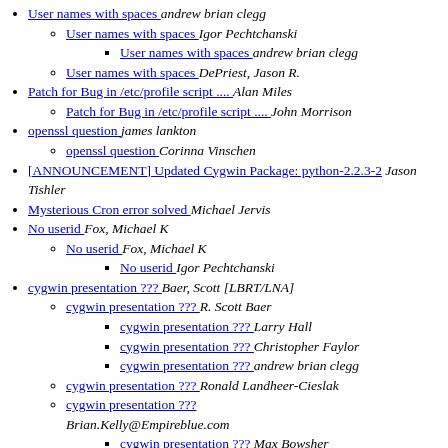User names with spaces  andrew brian clegg
User names with spaces  Igor Pechtchanski
User names with spaces  andrew brian clegg
User names with spaces  DePriest, Jason R.
Patch for Bug in /etc/profile script ....  Alan Miles
Patch for Bug in /etc/profile script ....  John Morrison
openssl question  james lankton
openssl question  Corinna Vinschen
[ANNOUNCEMENT] Updated Cygwin Package: python-2.2.3-2  Jason Tishler
Mysterious Cron error solved  Michael Jervis
No userid  Fox, Michael K
No userid  Fox, Michael K
No userid  Igor Pechtchanski
cygwin presentation ???  Baer, Scott [LBRT/LNA]
cygwin presentation ???  R. Scott Baer
cygwin presentation ???  Larry Hall
cygwin presentation ???  Christopher Faylor
cygwin presentation ???  andrew brian clegg
cygwin presentation ???  Ronald Landheer-Cieslak
cygwin presentation ???  Brian.Kelly@Empireblue.com
cygwin presentation ???  Max Bowsher